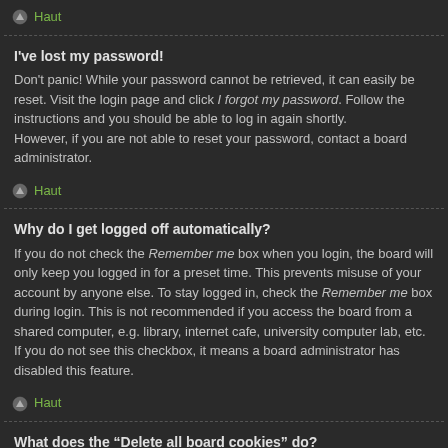Haut
I've lost my password!
Don't panic! While your password cannot be retrieved, it can easily be reset. Visit the login page and click I forgot my password. Follow the instructions and you should be able to log in again shortly.
However, if you are not able to reset your password, contact a board administrator.
Haut
Why do I get logged off automatically?
If you do not check the Remember me box when you login, the board will only keep you logged in for a preset time. This prevents misuse of your account by anyone else. To stay logged in, check the Remember me box during login. This is not recommended if you access the board from a shared computer, e.g. library, internet cafe, university computer lab, etc. If you do not see this checkbox, it means a board administrator has disabled this feature.
Haut
What does the “Delete all board cookies” do?
“Delete all board cookies” deletes the cookies created by phpBB which keep you authenticated and logged into the board. Cookies also provide functions such as read tracking if they have been enabled by a board administrator. If you are having login or logout problems, deleting board cookies may help.